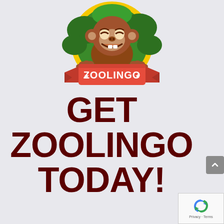[Figure (logo): Zoolingo app logo featuring a cartoon monkey smiling, peeking over a circular badge with green jungle background and yellow ring, with a red ribbon banner below reading 'ZOOLINGO' in white bold text with two star decorations]
GET ZOOLINGO TODAY!